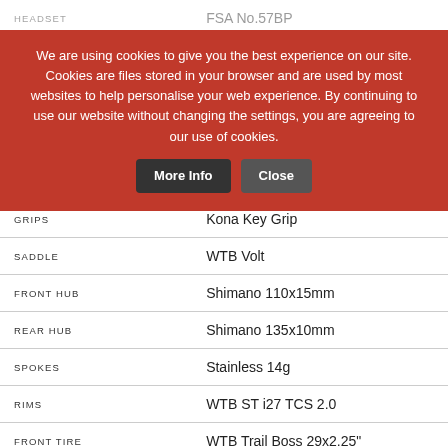| Component | Specification |
| --- | --- |
| HEADSET | FSA No.57BP |
| HANDLEBAR | Kona XC/BC Riser |
| STEM | Kona XC |
| SEATPOST | Kona Homb w/ Offset 31.6mm |
| SEAT CLAMP | Kona Clamp |
| GRIPS | Kona Key Grip |
| SADDLE | WTB Volt |
| FRONT HUB | Shimano 110x15mm |
| REAR HUB | Shimano 135x10mm |
| SPOKES | Stainless 14g |
| RIMS | WTB ST i27 TCS 2.0 |
| FRONT TIRE | WTB Trail Boss 29x2.25" |
| REAR TIRE | WTB Trail Boss 29x2.25" |
We are using cookies to give you the best experience on our site. Cookies are files stored in your browser and are used by most websites to help personalise your web experience. By continuing to use our website without changing the settings, you are agreeing to our use of cookies.